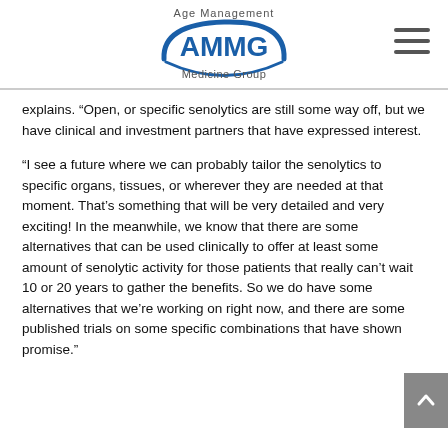Age Management AMMG Medicine Group
explains. “Open, or specific senolytics are still some way off, but we have clinical and investment partners that have expressed interest.
“I see a future where we can probably tailor the senolytics to specific organs, tissues, or wherever they are needed at that moment. That’s something that will be very detailed and very exciting! In the meanwhile, we know that there are some alternatives that can be used clinically to offer at least some amount of senolytic activity for those patients that really can’t wait 10 or 20 years to gather the benefits. So we do have some alternatives that we’re working on right now, and there are some published trials on some specific combinations that have shown promise.”